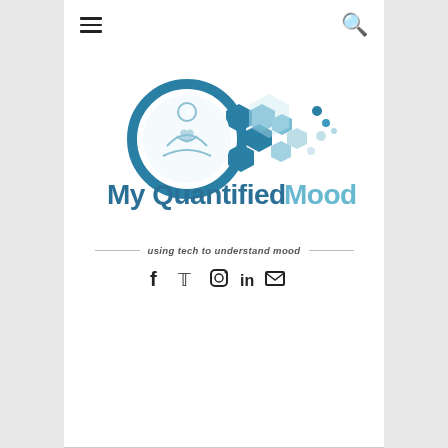[Figure (logo): My Quantified Mood logo: a person meditating inside a blue circle with hexagonal tech pattern scattered to the right, and the text 'My Quantified Mood' in blue rounded font below]
using tech to understand mood
[Figure (infographic): Social media icons row: Facebook, Twitter, Instagram, LinkedIn, Email]